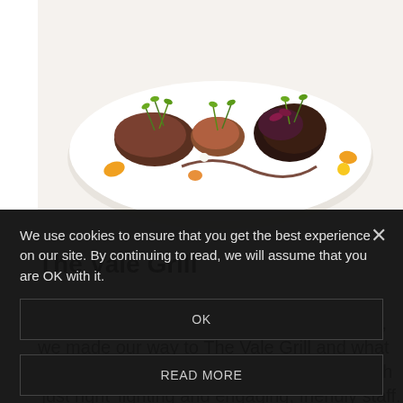[Figure (photo): Close-up of a fine dining plate with elegantly arranged meat and garnishes including microgreens, colorful vegetables, and decorative sauce on a white plate]
The Vale Grill
After our underwhelming preprandial drinks, we made our way to The Vale Grill and what a difference in atmosphere!  It was busy with 'just right' lighting and engaging, friendly staff. The flat
We use cookies to ensure that you get the best experience on our site. By continuing to read, we will assume that you are OK with it.
OK
READ MORE